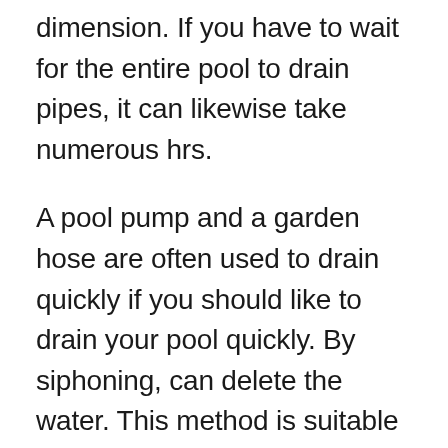dimension. If you have to wait for the entire pool to drain pipes, it can likewise take numerous hrs.
A pool pump and a garden hose are often used to drain quickly if you should like to drain your pool quickly. By siphoning, can delete the water. This method is suitable if you want to replace the swimming pool's liner with a new one.
Can use it for partial drainage pool water since it doesn't need much pressure. Making this decision is also